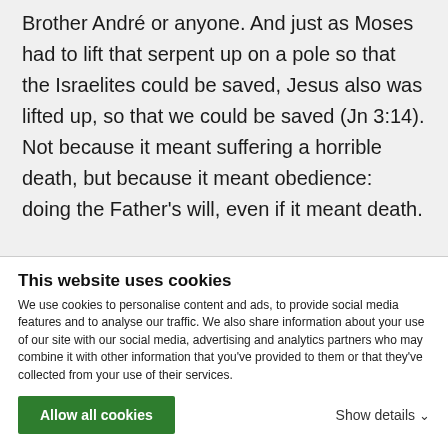Brother André or anyone. And just as Moses had to lift that serpent up on a pole so that the Israelites could be saved, Jesus also was lifted up, so that we could be saved (Jn 3:14). Not because it meant suffering a horrible death, but because it meant obedience: doing the Father's will, even if it meant death.
And guess what? We are called to imitate
This website uses cookies
We use cookies to personalise content and ads, to provide social media features and to analyse our traffic. We also share information about your use of our site with our social media, advertising and analytics partners who may combine it with other information that you've provided to them or that they've collected from your use of their services.
Allow all cookies
Show details